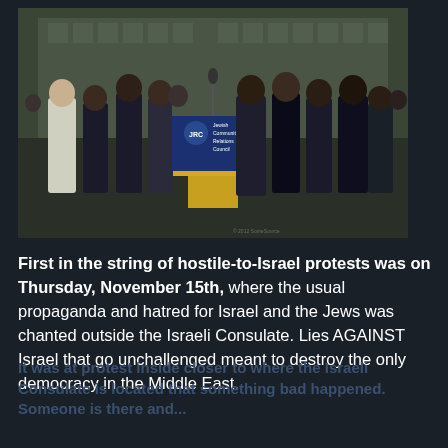[Figure (photo): A group of people gathered at a podium outdoors. The podium has a sign reading 'Jewish Community Relations Council'. Multiple people in suits and one person in a white coat stand around the podium in front of a brick building.]
First in the string of hostile-to-Israel protests was on Thursday, November 15th, where the usual propaganda and hatred for Israel and the Jews was chanted outside the Israeli Consulate. Lies AGAINST Israel that go unchallenged meant to destroy the only democracy in the Middle East.
It was at protest inside closer to where the Israeli Consulate is located that something bad happened. Someone is there and...